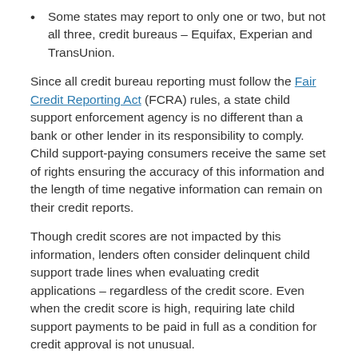Some states may report to only one or two, but not all three, credit bureaus – Equifax, Experian and TransUnion.
Since all credit bureau reporting must follow the Fair Credit Reporting Act (FCRA) rules, a state child support enforcement agency is no different than a bank or other lender in its responsibility to comply. Child support-paying consumers receive the same set of rights ensuring the accuracy of this information and the length of time negative information can remain on their credit reports.
Though credit scores are not impacted by this information, lenders often consider delinquent child support trade lines when evaluating credit applications – regardless of the credit score. Even when the credit score is high, requiring late child support payments to be paid in full as a condition for credit approval is not unusual.